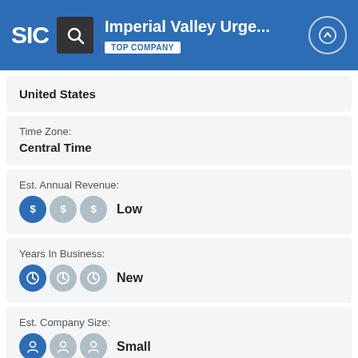Imperial Valley Urge... TOP COMPANY
United States
Time Zone:
Central Time
Est. Annual Revenue:
Low
Years In Business:
New
Est. Company Size:
Small